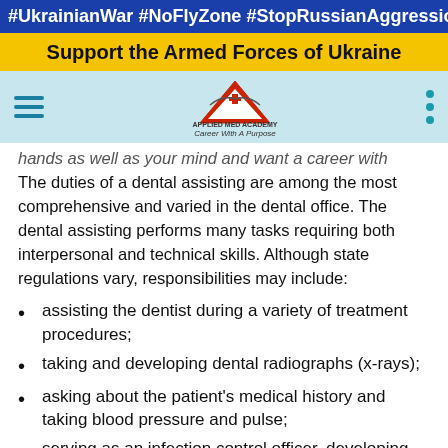#UkrainianWar #NoFlyZone #StopRussianAggressio
Support the Armed Forces of Ukraine
[Figure (logo): Applied Med Academy logo with a red triangle, medical cross, and tagline 'Career With A Purpose']
The duties of a dental assisting are among the most comprehensive and varied in the dental office. The dental assisting performs many tasks requiring both interpersonal and technical skills. Although state regulations vary, responsibilities may include:
assisting the dentist during a variety of treatment procedures;
taking and developing dental radiographs (x-rays);
asking about the patient's medical history and taking blood pressure and pulse;
serving as an infection control officer, developing infection control protocol and preparing and sterilizing instruments and equipment;